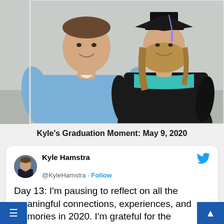[Figure (photo): Two people posing together at a graduation. On the left, a man in a light blue polo shirt smiling. On the right, a woman wearing a black graduation gown and cap with a teal/turquoise tassel or hood detail.]
Kyle's Graduation Moment: May 9, 2020
[Figure (screenshot): A Twitter/social media post from Kyle Hamstra (@KyleHamstra) with a Follow button. The tweet reads: 'Day 13: I'm pausing to reflect on all the meaningful connections, experiences, and memories in 2020. I'm grateful for the opportunities to serve, lead, and continue learning, yet all the more'. The Twitter bird logo appears in blue on the upper right of the card. The user avatar shows a man in a dark suit.]